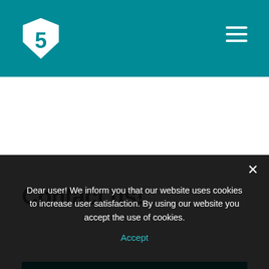[Figure (logo): White shield/badge shaped logo with the number 5 inside, on teal header background]
[Figure (other): Hamburger menu icon (three white horizontal lines) in top right of teal header]
Contact us!
Name*
Dear user! We inform you that our website uses cookies to increase user satisfaction. By using our website you accept the use of cookies.
Accept